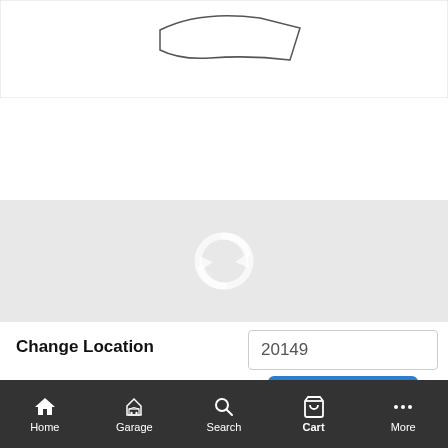[Figure (illustration): White area showing partial car part line drawing at top of page]
[Figure (illustration): Three thumbnail images of car part diagrams. First thumbnail is selected with blue border, second has a green bar at bottom, third shows a curved car roof diagram.]
[Figure (illustration): Gray loading area with white circular refresh/loading icon in the center]
Change Location
20149
Submit
Home    Garage    Search    Cart    More